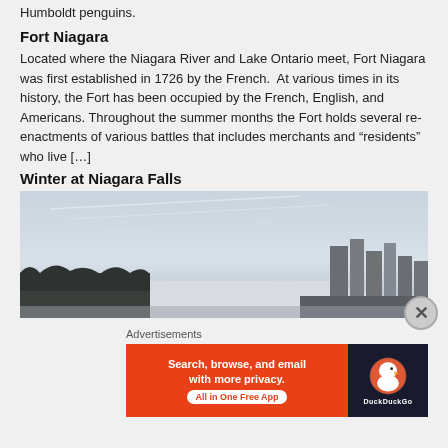Humboldt penguins.
Fort Niagara
Located where the Niagara River and Lake Ontario meet, Fort Niagara was first established in 1726 by the French.  At various times in its history, the Fort has been occupied by the French, English, and Americans. Throughout the summer months the Fort holds several re-enactments of various battles that includes merchants and “residents” who live […]
Winter at Niagara Falls
[Figure (photo): Winter panoramic photo of Niagara Falls area showing misty waterfall, bare trees on the left, and city skyline buildings visible on the right against a pale grey sky with vapor trails.]
Advertisements
[Figure (other): DuckDuckGo advertisement banner: orange left panel with text 'Search, browse, and email with more privacy. All in One Free App' and dark right panel with DuckDuckGo duck logo and brand name.]